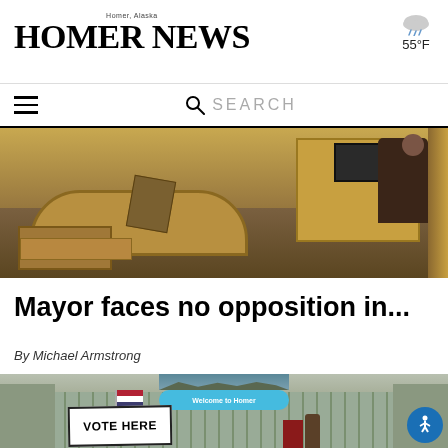Homer News — Homer, Alaska — 55°F
[Figure (photo): Interior of what appears to be a city council chamber with wooden desks arranged in a curved pattern; a person is seated at a podium/desk in the background.]
Mayor faces no opposition in...
By Michael Armstrong
[Figure (photo): Exterior of a building with a 'Welcome to Homer' sign above the entrance, a 'VOTE HERE' banner/sign in front, an American flag, and a person entering through a red door.]